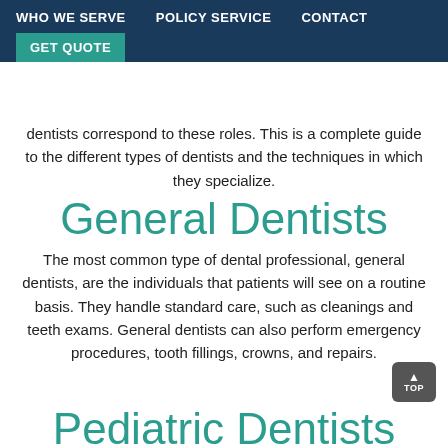WHO WE SERVE   POLICY SERVICE   CONTACT   GET QUOTE
dentists correspond to these roles. This is a complete guide to the different types of dentists and the techniques in which they specialize.
General Dentists
The most common type of dental professional, general dentists, are the individuals that patients will see on a routine basis. They handle standard care, such as cleanings and teeth exams. General dentists can also perform emergency procedures, tooth fillings, crowns, and repairs.
Pediatric Dentists